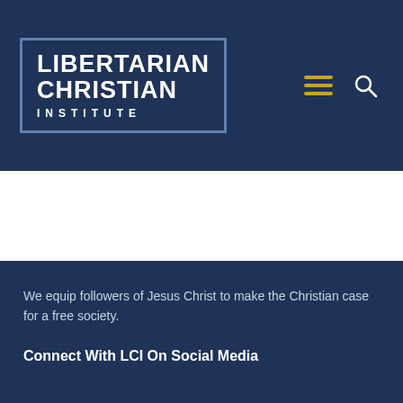[Figure (logo): Libertarian Christian Institute logo: white bold text on dark navy background inside a blue-bordered rectangle. Text reads LIBERTARIAN CHRISTIAN INSTITUTE.]
We equip followers of Jesus Christ to make the Christian case for a free society.
Connect With LCI On Social Media